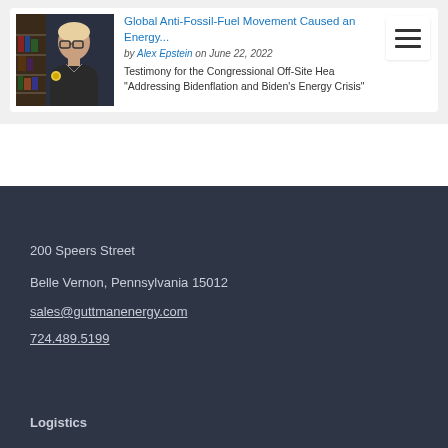[Figure (photo): Photo of a man (Alex Epstein) with glasses in a dark jacket, in front of a bookshelf background]
Global Anti-Fossil-Fuel Movement Caused an Energy...
by Alex Epstein on June 22, 2022
Testimony for the Congressional Off-Site Hea "Addressing Bidenflation and Biden's Energy Crisis"
200 Speers Street
Belle Vernon, Pennsylvania 15012
sales@guttmanenergy.com
724.489.5199
Logistics